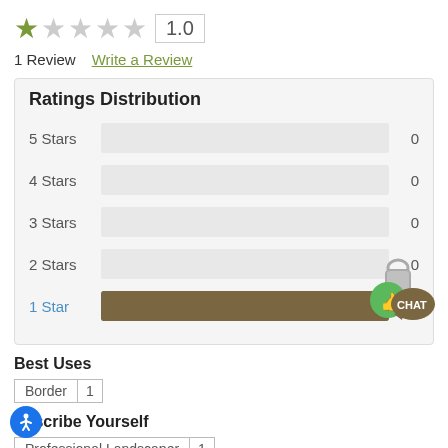[Figure (other): Star rating: 1 out of 5 stars with rating box showing 1.0]
1 Review   Write a Review
Ratings Distribution
[Figure (bar-chart): Ratings Distribution]
[Figure (other): Live chat widget with thumbs up icon and CHAT label]
Best Uses
Border  1
Describe Yourself
Professional Landscaper  1
[Figure (other): Accessibility icon - blue circle with person symbol]